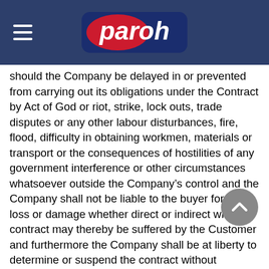paroh
should the Company be delayed in or prevented from carrying out its obligations under the Contract by Act of God or riot, strike, lock outs, trade disputes or any other labour disturbances, fire, flood, difficulty in obtaining workmen, materials or transport or the consequences of hostilities of any government interference or other circumstances whatsoever outside the Company’s control and the Company shall not be liable to the buyer for any loss or damage whether direct or indirect which contract may thereby be suffered by the Customer and furthermore the Company shall be at liberty to determine or suspend the contract without incurring liability for any loss or damage resulting to the Customer